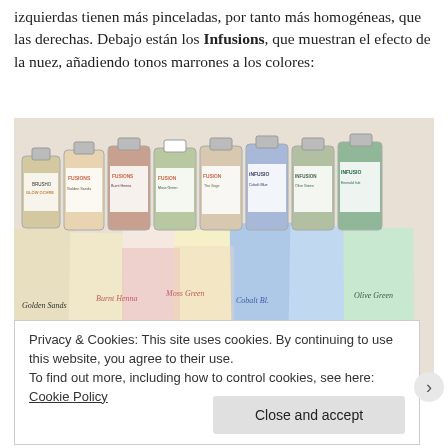izquierdas tienen más pinceladas, por tanto más homogéneas, que las derechas. Debajo están los Infusions, que muestran el efecto de la nuez, añadiendo tonos marrones a los colores:
[Figure (photo): A row of small Infusions ink bottles (Glow Ochre, Fusions, Burnt Henna, Moss Green, Cobalt Blue, Olive Green, Emerald Isle, etc.) displayed above color swatch cards labeled with their names: Golden Sands, Burnt Henna, Moss Green, Sunset Beach, The Sage, Cobalt Blue, Emerald Isle.]
Privacy & Cookies: This site uses cookies. By continuing to use this website, you agree to their use.
To find out more, including how to control cookies, see here: Cookie Policy
[Close and accept]